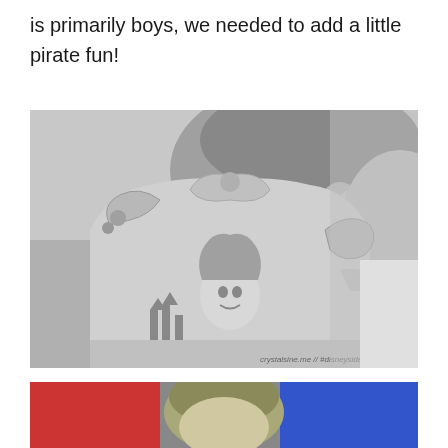is primarily boys, we needed to add a little pirate fun!
[Figure (photo): Black and white photo of a young boy looking at a Disney princess storybook/board book featuring Sofia the First with a castle illustration. Watermark reads 'crystalsine.me // #disneyside']
[Figure (photo): Partial color photo at bottom showing a child with light hair against a red and blue background.]